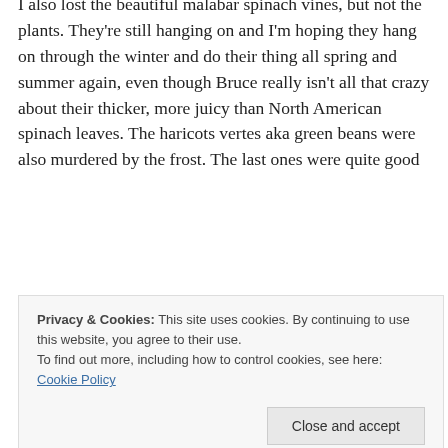I also lost the beautiful malabar spinach vines, but not the plants. They're still hanging on and I'm hoping they hang on through the winter and do their thing all spring and summer again, even though Bruce really isn't all that crazy about their thicker, more juicy than North American spinach leaves. The haricots vertes aka green beans were also murdered by the frost. The last ones were quite good
Privacy & Cookies: This site uses cookies. By continuing to use this website, you agree to their use. To find out more, including how to control cookies, see here: Cookie Policy
Close and accept
we have a bunch of pesto in the freezer.